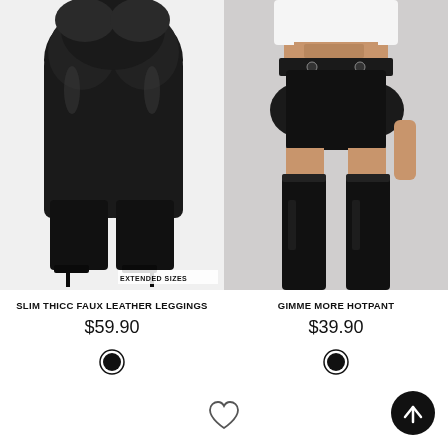[Figure (photo): Model wearing slim thicc faux leather leggings and high heel boots, back view on white background. 'EXTENDED SIZES' badge in lower right.]
SLIM THICC FAUX LEATHER LEGGINGS
$59.90
[Figure (photo): Model wearing Gimme More Hotpant faux leather shorts with thigh high boots, front view.]
GIMME MORE HOTPANT
$39.90
[Figure (illustration): Heart/wishlist icon at bottom center]
[Figure (illustration): Scroll-to-top button, dark circle with upward arrow, bottom right]